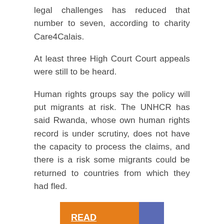legal challenges has reduced that number to seven, according to charity Care4Calais.
At least three High Court appeals were still to be heard.
Human rights groups say the policy will put migrants at risk. The UNHCR has said Rwanda, whose own human rights record is under scrutiny, does not have the capacity to process the claims, and there is a risk some migrants could be returned to countries from which they had fled.
READ ALSO;  Thulsie twins: State hands all relevant documents to defence before trial starts in February
The senior leadership of the Church of England